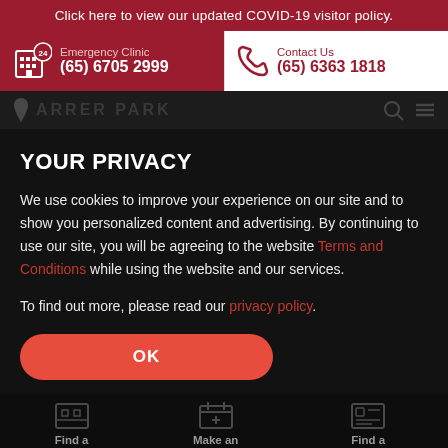Click here to view our updated COVID-19 visitor policy.
Emergency Clinic (65) 6705 2999
Contact Us (65) 6363 1818
[Figure (screenshot): Farrer Park website navigation bar with logo and icons]
YOUR PRIVACY
We use cookies to improve your experience on our site and to show you personalized content and advertising. By continuing to use our site, you will be agreeing to the website Terms and Conditions while using the website and our services.
To find out more, please read our privacy policy.
OK
Find a Doctor   Make an Appointment   Find a Condition